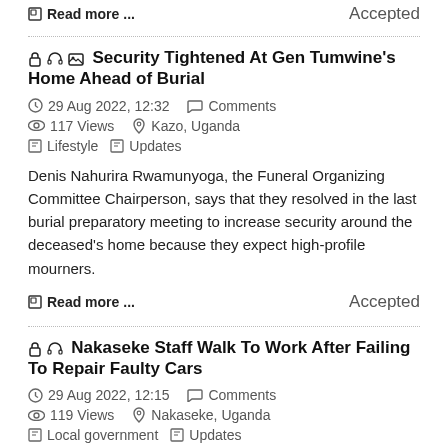Read more ...    Accepted
Security Tightened At Gen Tumwine's Home Ahead of Burial
29 Aug 2022, 12:32   Comments   117 Views   Kazo, Uganda   Lifestyle   Updates
Denis Nahurira Rwamunyoga, the Funeral Organizing Committee Chairperson, says that they resolved in the last burial preparatory meeting to increase security around the deceased's home because they expect high-profile mourners.
Read more ...    Accepted
Nakaseke Staff Walk To Work After Failing To Repair Faulty Cars
29 Aug 2022, 12:15   Comments   119 Views   Nakaseke, Uganda   Local government   Updates
Denis in Makaseke, the Nakaseke...